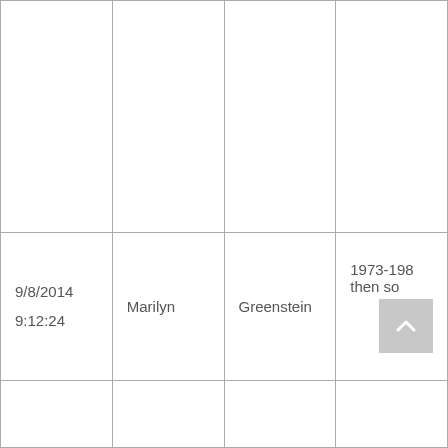|  |  |  |  |
| 9/8/2014 9:12:24 | Marilyn | Greenstein | 1973-198… then so… |
|  |  |  |  |